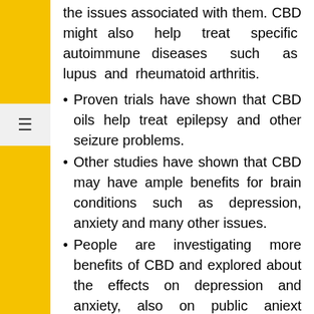the issues associated with them. CBD might also help treat specific autoimmune diseases such as lupus and rheumatoid arthritis.
Proven trials have shown that CBD oils help treat epilepsy and other seizure problems.
Other studies have shown that CBD may have ample benefits for brain conditions such as depression, anxiety and many other issues.
People are investigating more benefits of CBD and explored about the effects on depression and anxiety, also on public aniext disorder and post traumatic tension
Is CBD Safe?
There have been comprehensive tests done